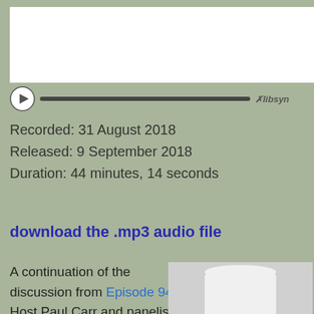[Figure (screenshot): Audio player widget with white box, play button, progress bar, and libsyn branding]
Recorded: 31 August 2018
Released: 9 September 2018
Duration: 44 minutes, 14 seconds
download the .mp3 audio file
A continuation of the discussion from Episode 94. Host Paul Carr and panelists Buck Field and Nick Nielsen jam on the theme of what are our models of reality, and what do they mean?
[Figure (photo): Black and white portrait photo of a man wearing a wide-brimmed white hat and round glasses with a beard]
LINKS:
sieve of Eratosthenes